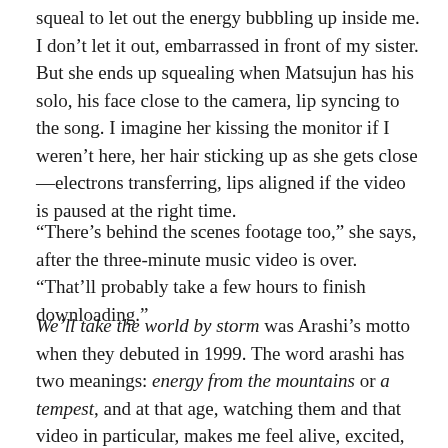squeal to let out the energy bubbling up inside me. I don't let it out, embarrassed in front of my sister. But she ends up squealing when Matsujun has his solo, his face close to the camera, lip syncing to the song. I imagine her kissing the monitor if I weren't here, her hair sticking up as she gets close—electrons transferring, lips aligned if the video is paused at the right time.
“There’s behind the scenes footage too,” she says, after the three-minute music video is over. “That’ll probably take a few hours to finish downloading.”
We’ll take the world by storm was Arashi’s motto when they debuted in 1999. The word arashi has two meanings: energy from the mountains or a tempest, and at that age, watching them and that video in particular, makes me feel alive, excited, aroused even, though I don’t know it then. I am in front of that yellowing monitor, the ragged rug underneath me prickling my crossed legs, and I am still feeling a rush, restless. The energy in me is palpable